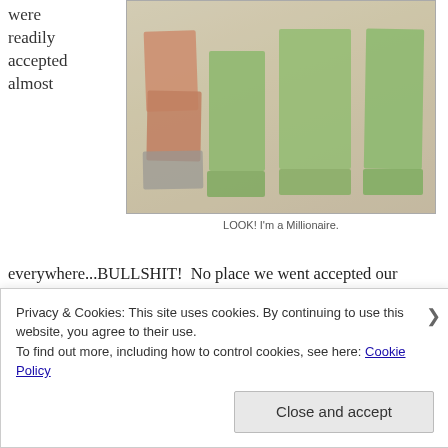were readily accepted almost
[Figure (photo): Photo of stacks of Vietnamese dong banknotes arranged in groups on a white surface]
LOOK! I'm a Millionaire.
everywhere...BULLSHIT!  No place we went accepted our greenbacks.  If you want to spend Uncle Sam's dollars, stay in the touristy areas.  If you want to experience the real city, get yourself
Privacy & Cookies: This site uses cookies. By continuing to use this website, you agree to their use.
To find out more, including how to control cookies, see here: Cookie Policy
Close and accept